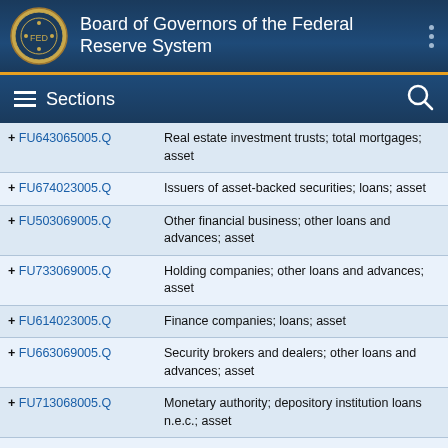Board of Governors of the Federal Reserve System
Sections
| Code | Description |
| --- | --- |
| + FU643065005.Q | Real estate investment trusts; total mortgages; asset |
| + FU674023005.Q | Issuers of asset-backed securities; loans; asset |
| + FU503069005.Q | Other financial business; other loans and advances; asset |
| + FU733069005.Q | Holding companies; other loans and advances; asset |
| + FU614023005.Q | Finance companies; loans; asset |
| + FU663069005.Q | Security brokers and dealers; other loans and advances; asset |
| + FU713068005.Q | Monetary authority; depository institution loans n.e.c.; asset |
| + FU404023005.Q | Government-sponsored enterprises; loans; asset |
| + FU413065005.Q | Agency-and GSE-backed mortgage pools; total mortgages; asset |
| + FU653069803.Q | Mutual funds; syndicated loans to nonfinancial corporate business; asset |